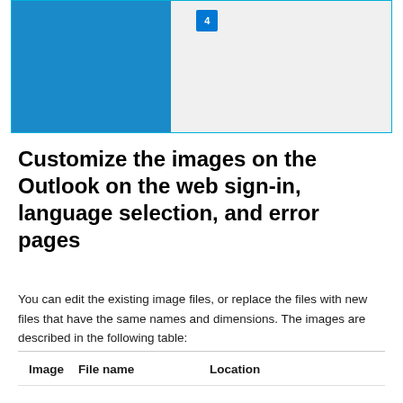[Figure (screenshot): Screenshot showing a UI with a blue panel on the left and a gray panel on the right, with a badge labeled '4' in the gray area.]
Customize the images on the Outlook on the web sign-in, language selection, and error pages
You can edit the existing image files, or replace the files with new files that have the same names and dimensions. The images are described in the following table:
| Image | File name | Location |
| --- | --- | --- |